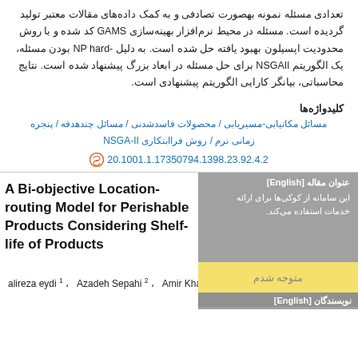تعدادی مسئله نمونه بهصورت تصادفی و به کمک داده‌های مقالات معتبر تولید گردیده است. مسئله در محیط نرم‌افزار بهینه‌سازی GAMS کد شده و با روش محدودیت اپسیلون بهبود یافته حل شده است. به دلیل NP-hard بودن مسئله، یک الگوریتم NSGAII برای حل مسئله در ابعاد بزرگ پیشنهاد شده است. نتایج محاسباتی، بیانگر کارایی الگوریتم پیشنهادی است.
کلیدواژه‌ها
مسائل مکانیابی-مسیریابی / محصولات فاسدشدنی / مسائل چندهدفه / پنجره زمانی نرم / روش فراابتکاری NSGA-II
20.1001.1.17350794.1398.23.92.4.2
عنوان مقاله [English]
A Bi-objective Location-routing Model for Perishable Products Considering Shelf-life of Products
نویسندگان [English]
alireza eydi¹ ،  Azadeh Sepahi² ،  Amir Khaleqhi²